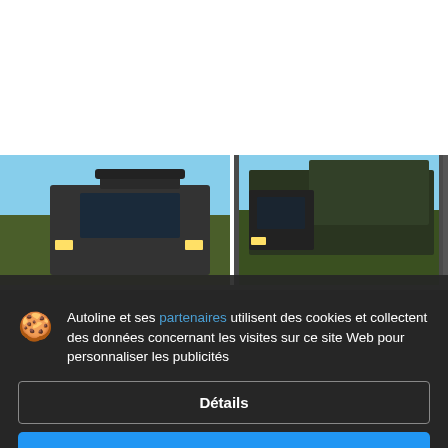[Figure (photo): Two truck vehicles photographed outdoors with trees and sky in background, shown in a horizontal strip. Left image shows truck cab with '86 📷' photo count badge. Right image shows another truck.]
Autoline et ses partenaires utilisent des cookies et collectent des données concernant les visites sur ce site Web pour personnaliser les publicités
Détails
Accepter et fermer